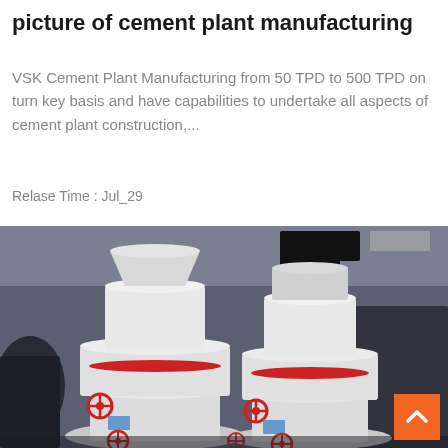picture of cement plant manufacturing
VSK Cement Plant Manufacturing from 50 TPD to 500 TPD on turn key basis and have capabilities to undertake all aspects of cement plant construction,...
Relase Time : Jul_29
[Figure (photo): Industrial cement plant manufacturing equipment — two large white cylindrical vertical mill machines with red valve fittings, positioned in a factory workshop setting with various industrial machinery in the background.]